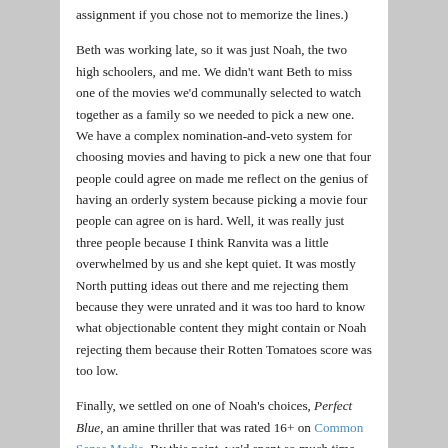assignment if you chose not to memorize the lines.)
Beth was working late, so it was just Noah, the two high schoolers, and me. We didn’t want Beth to miss one of the movies we’d communally selected to watch together as a family so we needed to pick a new one. We have a complex nomination-and-veto system for choosing movies and having to pick a new one that four people could agree on made me reflect on the genius of having an orderly system because picking a movie four people can agree on is hard. Well, it was really just three people because I think Ranvita was a little overwhelmed by us and she kept quiet. It was mostly North putting ideas out there and me rejecting them because they were unrated and it was too hard to know what objectionable content they might contain or Noah rejecting them because their Rotten Tomatoes score was too low.
Finally, we settled on one of Noah’s choices, Perfect Blue, an amine thriller that was rated 16+ on Common Sense Media. By this point, we’d spent so much time trying to decide on a movie that I didn’t look carefully at the details